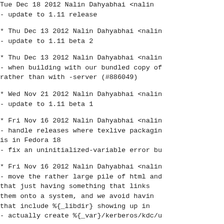Tue Dec 18 2012 Nalin Dahyabhai <nalin...
- update to 1.11 release
* Thu Dec 13 2012 Nalin Dahyabhai <nalin...
- update to 1.11 beta 2
* Thu Dec 13 2012 Nalin Dahyabhai <nalin...
- when building with our bundled copy of...
rather than with -server (#886049)
* Wed Nov 21 2012 Nalin Dahyabhai <nalin...
- update to 1.11 beta 1
* Fri Nov 16 2012 Nalin Dahyabhai <nalin...
- handle releases where texlive packaging...
is in Fedora 18
- fix an uninitialized-variable error bu...
* Fri Nov 16 2012 Nalin Dahyabhai <nalin...
- move the rather large pile of html and...
that just having something that links...
them onto a system, and we avoid havin...
that include %{_libdir} showing up in...
- actually create %{_var}/kerberos/kdc/u...